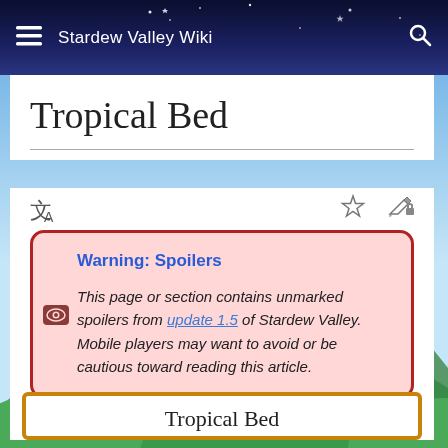Stardew Valley Wiki
Tropical Bed
Warning: Spoilers
This page or section contains unmarked spoilers from update 1.5 of Stardew Valley. Mobile players may want to avoid or be cautious toward reading this article.
Tropical Bed